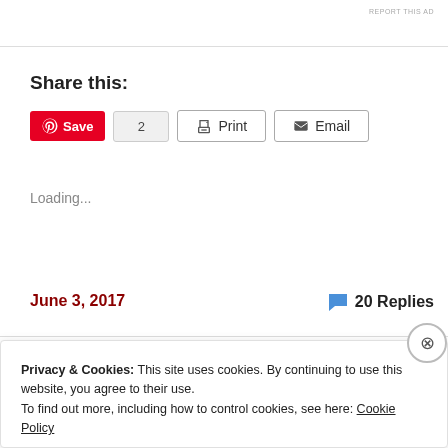REPORT THIS AD
Share this:
[Figure (screenshot): Social share buttons: Pinterest Save (2), Print, Email]
Loading...
June 3, 2017
20 Replies
Privacy & Cookies: This site uses cookies. By continuing to use this website, you agree to their use.
To find out more, including how to control cookies, see here: Cookie Policy
Close and accept